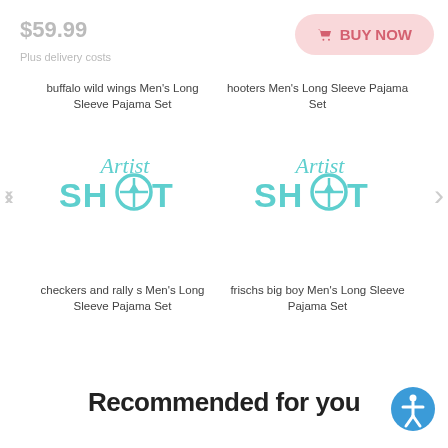$59.99
Plus delivery costs
BUY NOW
buffalo wild wings Men's Long Sleeve Pajama Set
[Figure (logo): Artist Shot logo in teal/cyan colors]
hooters Men's Long Sleeve Pajama Set
[Figure (logo): Artist Shot logo in teal/cyan colors]
checkers and rally s Men's Long Sleeve Pajama Set
frischs big boy Men's Long Sleeve Pajama Set
Recommended for you